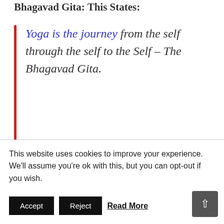Bhagavad Gita: This States:
Yoga is the journey from the self through the self to the Self – The Bhagavad Gita.
This is the heart of Yoga in what is called an aphorism. An aphorism is simply a wisdom statement. The whole wisdom of the 3 stages
This website uses cookies to improve your experience. We'll assume you're ok with this, but you can opt-out if you wish.
Accept   Reject   Read More